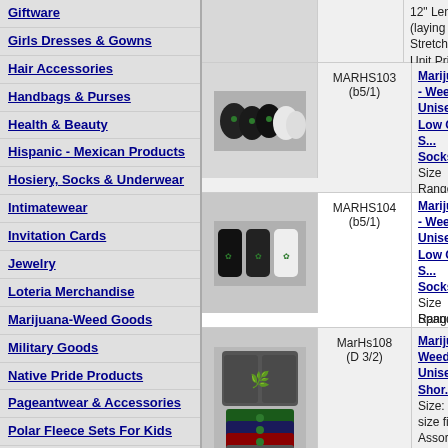Giftware
Girls Dresses & Gowns
Hair Accessories
Handbags & Purses
Health & Beauty
Hispanic - Mexican Products
Hosiery, Socks & Underwear
Intimatewear
Invitation Cards
Jewelry
Loteria Merchandise
Marijuana-Weed Goods
Military Goods
Native Pride Products
Pageantwear & Accessories
Polar Fleece Sets For Kids
Quincenera Goods
12" Length (laying flat). Stretchy. Unit Price: $2.50/Each.
MARHS103 (b5/1) - Marijuana - Weed Unisex Low Cut Socks. Size Range: 10-13. Colors Per Pack. Material Content: 80% Cotton Spandex. Unit Price: $0.75/Pair.
MARHS104 (b5/1) - Marijuana - Weed Unisex Low Cut Socks. Size Ranges: 9-11. Assorted Colors Per Pack. Material Content: 20% Spandex. Unit Price: $0.75/Pair. Pair.
MarHs108 (D 3/2) - Marijuana - Weed Unisex Boy Shorts. Size: One size fits. Assorted Colors Per Shown. Material Content: Nylon- 10% Spandex. Measurement: 27" 12" Length (laying flat). Stretchy. Unit Price: